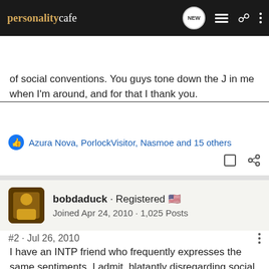personalitycafe
Search Community
of social conventions. You guys tone down the J in me when I'm around, and for that I thank you.
Azura Nova, PorlockVisitor, Nasmoe and 15 others
bobdaduck · Registered 🇺🇸
Joined Apr 24, 2010 · 1,025 Posts
#2 · Jul 26, 2010
I have an INTP friend who frequently expresses the same sentiments. I admit, blatantly disregarding social norms is fun,